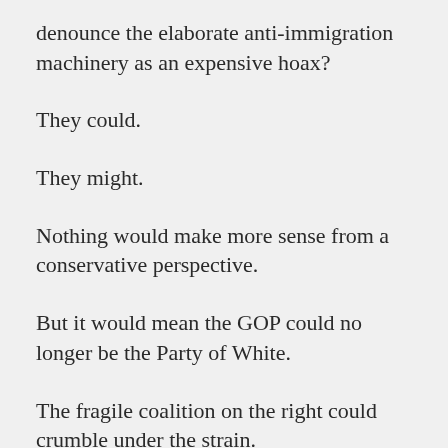denounce the elaborate anti-immigration machinery as an expensive hoax?
They could.
They might.
Nothing would make more sense from a conservative perspective.
But it would mean the GOP could no longer be the Party of White.
The fragile coalition on the right could crumble under the strain.